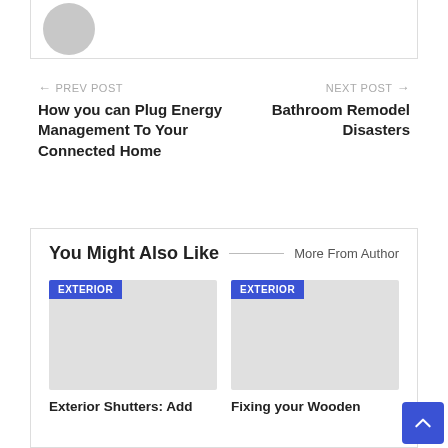[Figure (photo): Partial view of a gray silhouette avatar/profile image placeholder in a card]
← PREV POST
How you can Plug Energy Management To Your Connected Home
NEXT POST →
Bathroom Remodel Disasters
You Might Also Like
More From Author
[Figure (photo): Gray placeholder image for article card with EXTERIOR tag]
EXTERIOR
Exterior Shutters: Add
[Figure (photo): Gray placeholder image for article card with EXTERIOR tag]
EXTERIOR
Fixing your Wooden